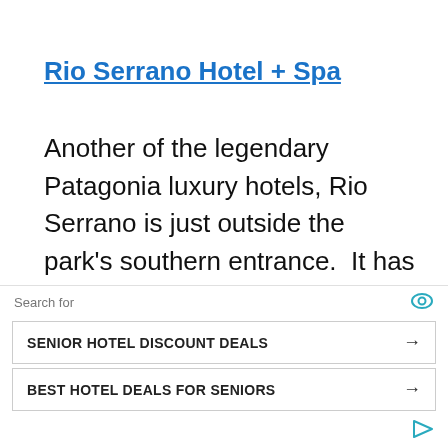Rio Serrano Hotel + Spa
Another of the legendary Patagonia luxury hotels, Rio Serrano is just outside the park's southern entrance.  It has great views of the Cuernos del Paine, but they are more distant than closer hotels inside the park.  They have an option of room only or an all-inclusive
Search for
SENIOR HOTEL DISCOUNT DEALS →
BEST HOTEL DEALS FOR SENIORS →